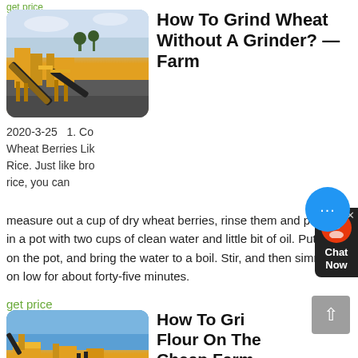[Figure (photo): Yellow industrial conveyor/crushing machine on dark gravel, outdoor setting with trees and sky in background]
How To Grind Wheat Without A Grinder? — Farm
2020-3-25   1. Cook Wheat Berries Like Rice. Just like brown rice, you can measure out a cup of dry wheat berries, rinse them and put them in a pot with two cups of clean water and little bit of oil. Put the lid on the pot, and bring the water to a boil. Stir, and then simmer it on low for about forty-five minutes.
get price
[Figure (photo): Yellow industrial mining/crushing machines on a work site with blue sky]
How To Grind Flour On The Cheap Farm Fresh For
2017-1-13